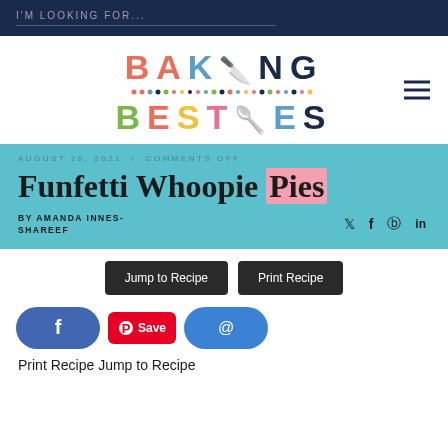I'M LOOKING FOR...
[Figure (logo): Baking Besties logo with colorful letters and dotted line separator]
AUGUST 26, 2021 / COMMENTS OFF
Funfetti Whoopie Pies
BY AMANDA INNES-SHAREEF
Jump to Recipe  Print Recipe
Print Recipe Jump to Recipe